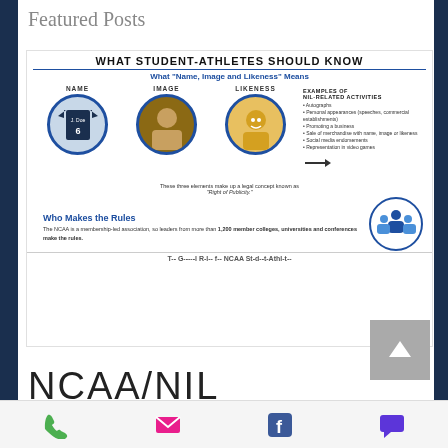Featured Posts
[Figure (infographic): NCAA NIL infographic: 'What Student-Athletes Should Know' — explains Name, Image, and Likeness with three circular portrait images under NAME, IMAGE, LIKENESS headings; lists examples of NIL-related activities (autographs, personal appearances, promoting a business, sale of merchandise, social media endorsements, representation in video games); section on 'Who Makes the Rules' explaining the NCAA as a membership-led association.]
NCAA/NIL
Recent Posts